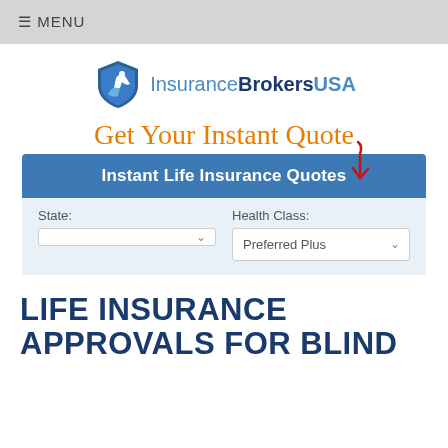≡ MENU
[Figure (logo): InsuranceBrokersUSA logo with shield icon]
Get Your Instant Quote
Instant Life Insurance Quotes
State:
Health Class: Preferred Plus
LIFE INSURANCE APPROVALS FOR BLIND